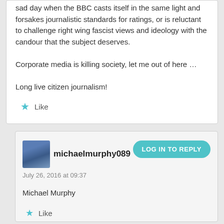sad day when the BBC casts itself in the same light and forsakes journalistic standards for ratings, or is reluctant to challenge right wing fascist views and ideology with the candour that the subject deserves.

Corporate media is killing society, let me out of here …

Long live citizen journalism!
Like
michaelmurphy089
LOG IN TO REPLY
July 26, 2016 at 09:37
Michael Murphy
Like